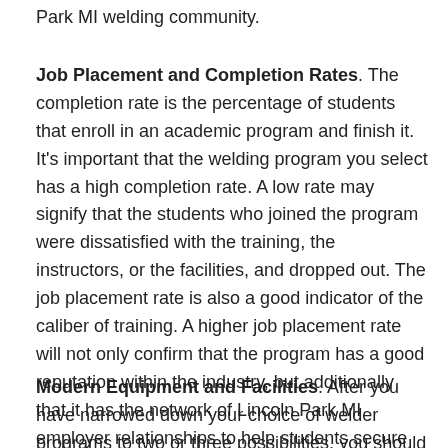Park MI welding community.
Job Placement and Completion Rates. The completion rate is the percentage of students that enroll in an academic program and finish it. It's important that the welding program you select has a high completion rate. A low rate may signify that the students who joined the program were dissatisfied with the training, the instructors, or the facilities, and dropped out. The job placement rate is also a good indicator of the caliber of training. A higher job placement rate will not only confirm that the program has a good reputation within the industry, but additionally that it has the network of Lincoln Park MI employer relationships to help students secure apprenticeships or employment upon graduation.
Modern Equipment and Facilities. After you have narrowed down your choice of welder programs to two or three possibilities, you should think out visiting the